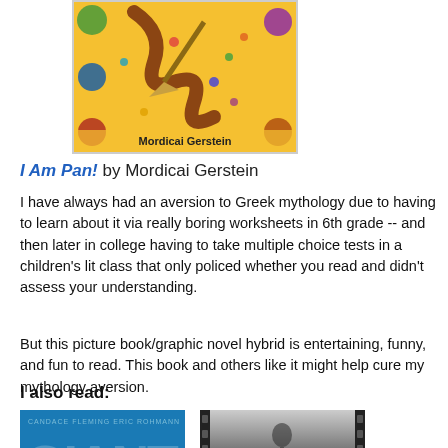[Figure (illustration): Book cover of 'I Am Pan!' by Mordicai Gerstein showing a colorful illustration with a snake-like creature on a yellow background with small creatures around it, author name at bottom]
I Am Pan! by Mordicai Gerstein
I have always had an aversion to Greek mythology due to having to learn about it via really boring worksheets in 6th grade -- and then later in college having to take multiple choice tests in a children's lit class that only policed whether you read and didn't assess your understanding.
But this picture book/graphic novel hybrid is entertaining, funny, and fun to read. This book and others like it might help cure my mythology aversion.
I also read:
[Figure (illustration): Book cover of 'Giant' by Candace Fleming and Eric Rohmann, blue cover with large white GIANT text]
[Figure (illustration): Book cover showing 'Girl' in blue text at bottom on a black and white photo-style cover with film strip edges]